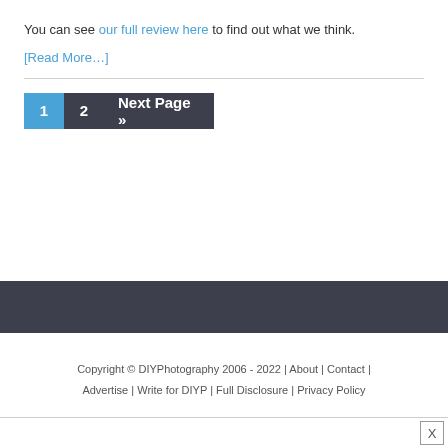You can see our full review here to find out what we think.
[Read More…]
1  2  Next Page »
Copyright © DIYPhotography 2006 - 2022 | About | Contact | Advertise | Write for DIYP | Full Disclosure | Privacy Policy